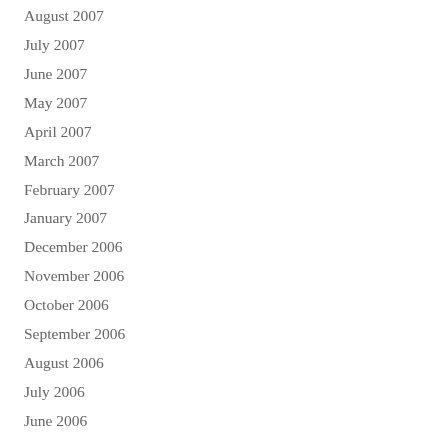August 2007
July 2007
June 2007
May 2007
April 2007
March 2007
February 2007
January 2007
December 2006
November 2006
October 2006
September 2006
August 2006
July 2006
June 2006